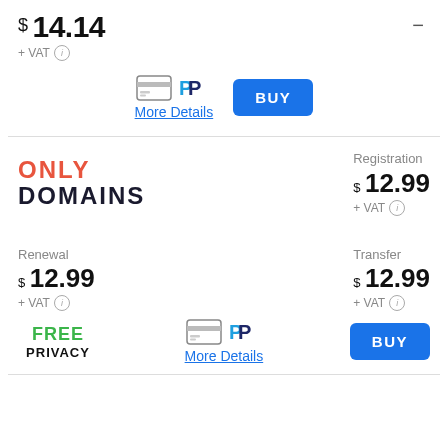$ 14.14
+ VAT (i) —
[Figure (other): Credit card and PayPal payment icons]
More Details
BUY
[Figure (logo): Only Domains logo in red and dark blue]
Registration
$ 12.99
+ VAT (i)
Renewal
$ 12.99
+ VAT (i)
Transfer
$ 12.99
+ VAT (i)
FREE PRIVACY
[Figure (other): Credit card and PayPal payment icons]
More Details
BUY